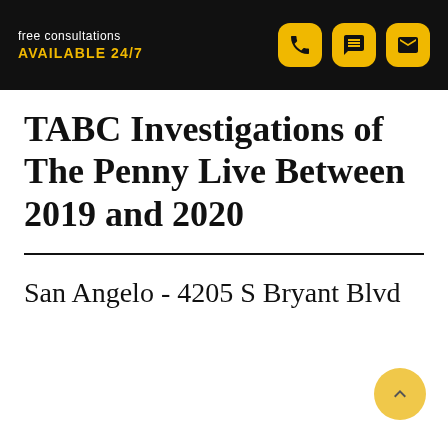free consultations AVAILABLE 24/7
TABC Investigations of The Penny Live Between 2019 and 2020
San Angelo - 4205 S Bryant Blvd